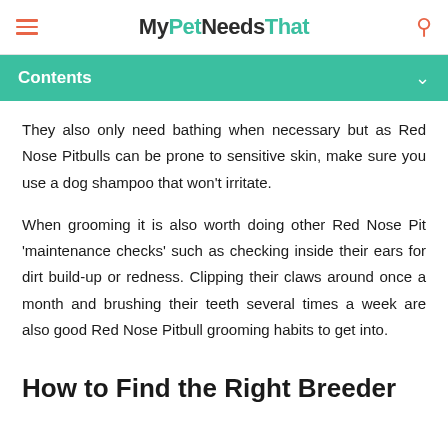MyPetNeedsThat
Contents
They also only need bathing when necessary but as Red Nose Pitbulls can be prone to sensitive skin, make sure you use a dog shampoo that won't irritate.
When grooming it is also worth doing other Red Nose Pit 'maintenance checks' such as checking inside their ears for dirt build-up or redness. Clipping their claws around once a month and brushing their teeth several times a week are also good Red Nose Pitbull grooming habits to get into.
How to Find the Right Breeder